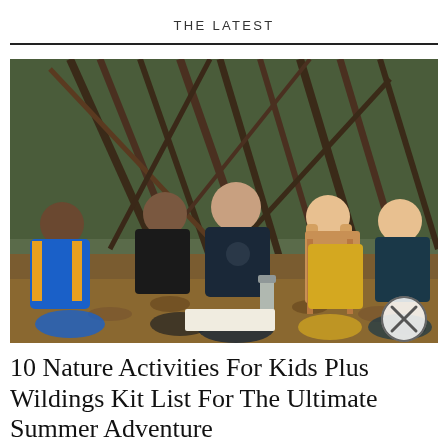THE LATEST
[Figure (photo): An adult man sitting cross-legged on the ground with a group of children around him, studying something on the ground in front of a rustic shelter made of branches and sticks in a woodland setting. Children are wearing colorful clothes; one in a blue and yellow jacket on the left, one in a yellow top on the right, with another child on the far right. A thermos flask is visible on the ground.]
10 Nature Activities For Kids Plus Wildings Kit List For The Ultimate Summer Adventure